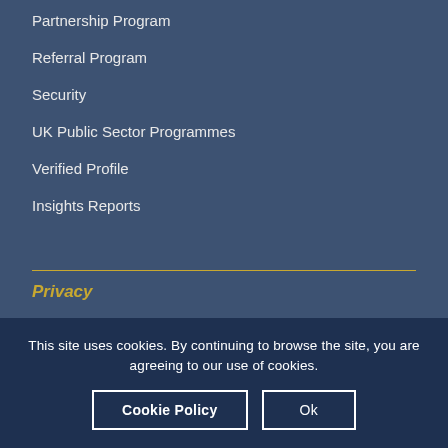Partnership Program
Referral Program
Security
UK Public Sector Programmes
Verified Profile
Insights Reports
Privacy
This site uses cookies. By continuing to browse the site, you are agreeing to our use of cookies.
Cookie Policy
Ok